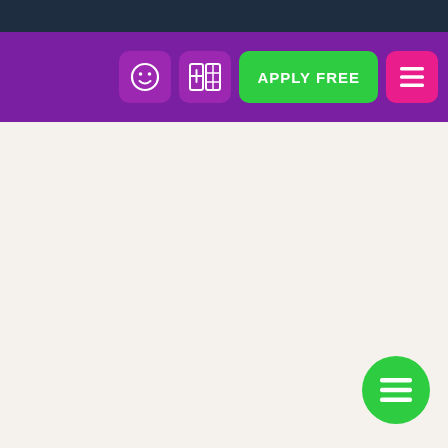[Figure (screenshot): Website navigation bar with dark top bar, purple toolbar containing smiley face icon button, calculator/grid icon button, green APPLY FREE button, and pink hamburger menu button. Bottom of page has a floating green circular hamburger menu button.]